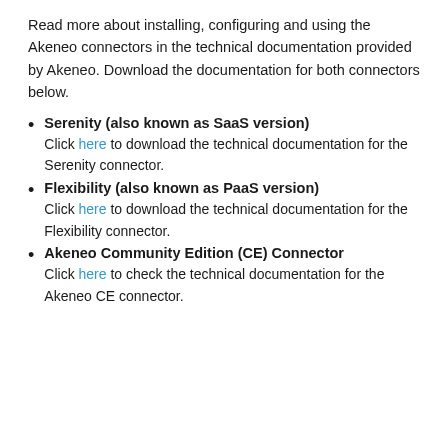Read more about installing, configuring and using the Akeneo connectors in the technical documentation provided by Akeneo. Download the documentation for both connectors below.
Serenity (also known as SaaS version) — Click here to download the technical documentation for the Serenity connector.
Flexibility (also known as PaaS version) — Click here to download the technical documentation for the Flexibility connector.
Akeneo Community Edition (CE) Connector — Click here to check the technical documentation for the Akeneo CE connector.